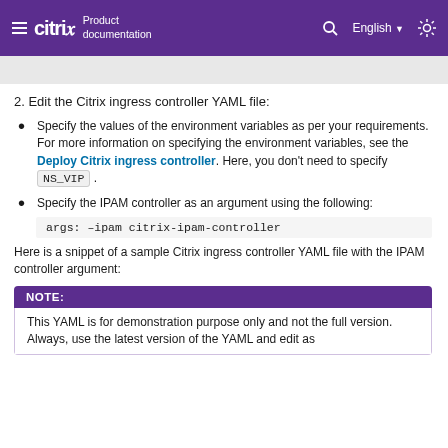≡ citrix Product documentation | English | ☼
2. Edit the Citrix ingress controller YAML file:
Specify the values of the environment variables as per your requirements. For more information on specifying the environment variables, see the Deploy Citrix ingress controller. Here, you don't need to specify NS_VIP.
Specify the IPAM controller as an argument using the following:
args: --ipam citrix-ipam-controller
Here is a snippet of a sample Citrix ingress controller YAML file with the IPAM controller argument:
NOTE: This YAML is for demonstration purpose only and not the full version. Always, use the latest version of the YAML and edit as